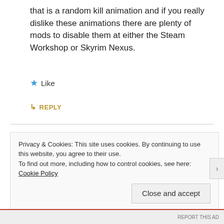that is a random kill animation and if you really dislike these animations there are plenty of mods to disable them at either the Steam Workshop or Skyrim Nexus.
Like
REPLY
gabriel sword
MAY 27, 2013 AT 4:19 PM
There are actually two perks one can use to do this. If you use one handed weapons, it's Savage Strike, which,
Privacy & Cookies: This site uses cookies. By continuing to use this website, you agree to their use.
To find out more, including how to control cookies, see here: Cookie Policy
Close and accept